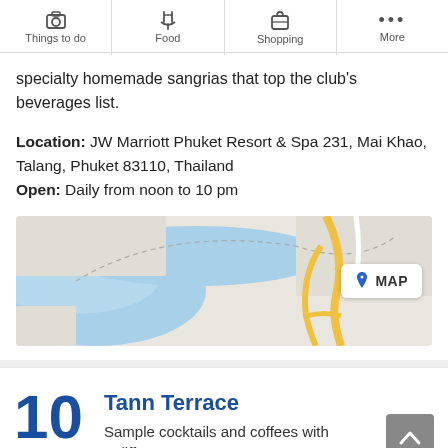Things to do | Food | Shopping | More
specialty homemade sangrias that top the club's beverages list.
Location: JW Marriott Phuket Resort & Spa 231, Mai Khao, Talang, Phuket 83110, Thailand
Open: Daily from noon to 10 pm
[Figure (map): Map showing location near JW Marriott Phuket Resort & Spa, with blue waterway and yellow roads visible]
10 Tann Terrace
Sample cocktails and coffees with a difference